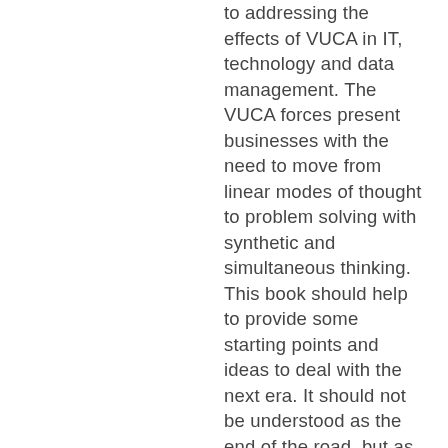to addressing the effects of VUCA in IT, technology and data management. The VUCA forces present businesses with the need to move from linear modes of thought to problem solving with synthetic and simultaneous thinking. This book should help to provide some starting points and ideas to deal with the next era. It should not be understood as the end of the road, but as the beginning of a journey exploring and